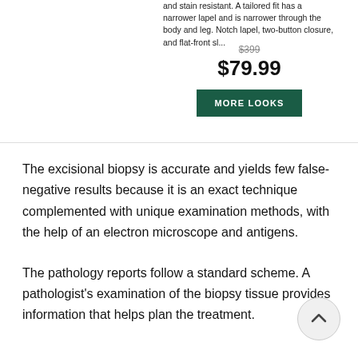and stain resistant. A tailored fit has a narrower lapel and is narrower through the body and leg. Notch lapel, two-button closure, and flat-front sl...
$399
$79.99
MORE LOOKS
The excisional biopsy is accurate and yields few false-negative results because it is an exact technique complemented with unique examination methods, with the help of an electron microscope and antigens.
The pathology reports follow a standard scheme. A pathologist's examination of the biopsy tissue provides information that helps plan the treatment.